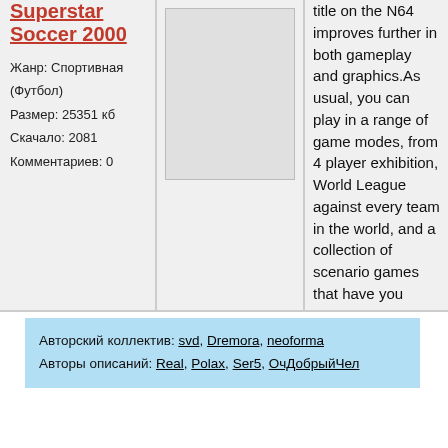Superstar Soccer 2000
Жанр: Спортивная (Футбол)
Размер: 25351 кб
Скачало: 2081
Комментариев: 0
[Figure (photo): Game cover image placeholder (gray box)]
title on the N64 improves further in both gameplay and graphics.As usual, you can play in a range of game modes, from 4 player exhibition, World League against every team in the world, and a collection of scenario games that have you completing certain elements of a game in order to complete...
Читать далее »
Авторский коллектив: svd, Dremora, neoforma
Авторы описаний: Real, Polax, Ser5, ОчДобрыйЧел